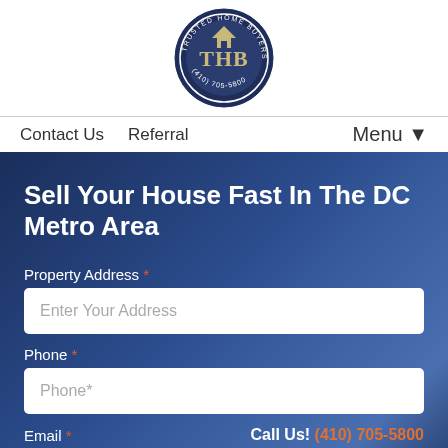[Figure (logo): Trusted Home Buyers circular logo with THB initials and phone number (410) 705-5800]
Contact Us  Referral  Menu▼
Sell Your House Fast In The DC Metro Area
Property Address *
Enter Your Address
Phone *
Phone*
Email *   Call Us! (410) 705-5800